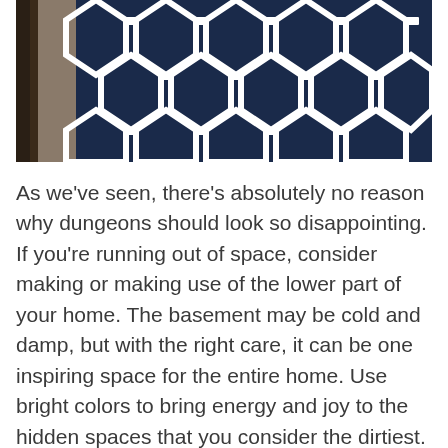[Figure (photo): Close-up photo of a navy blue and white geometric patterned pillow or cushion with hexagonal/lattice design, resting against what appears to be a wooden surface and grey carpet]
As we've seen, there's absolutely no reason why dungeons should look so disappointing. If you're running out of space, consider making or making use of the lower part of your home. The basement may be cold and damp, but with the right care, it can be one inspiring space for the entire home. Use bright colors to bring energy and joy to the hidden spaces that you consider the dirtiest. What do you think? Share this article with your friends and start